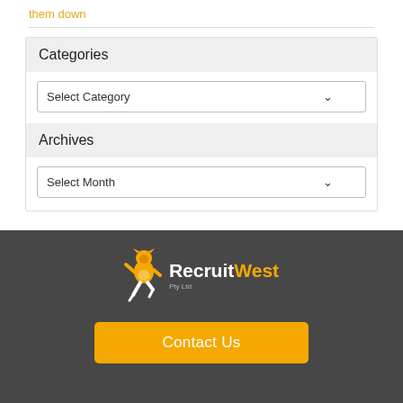them down
Categories
Select Category
Archives
Select Month
[Figure (logo): RecruitWest Pty Ltd logo with yellow running figure mascot]
Contact Us